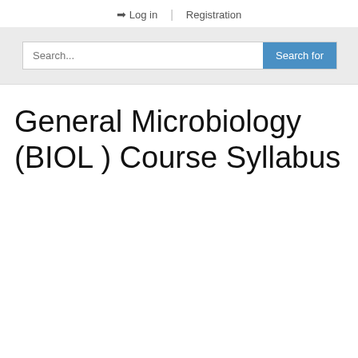→ Log in | Registration
[Figure (screenshot): Search bar with text input placeholder 'Search...' and a blue 'Search for' button on a light grey background]
General Microbiology (BIOL ) Course Syllabus